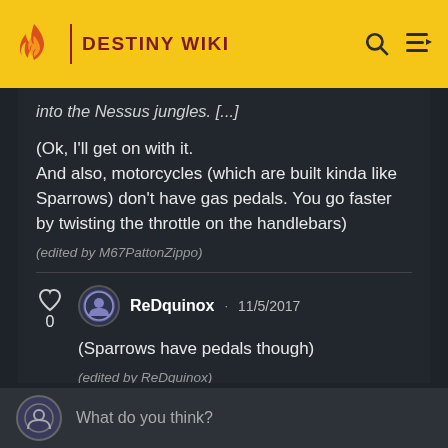DESTINY WIKI
into the Nessus jungles. [...]
(Ok, I'll get on with it. And also, motorcycles (which are built kinda like Sparrows) don't have gas pedals. You go faster by twisting the throttle on the handlebars)
(edited by M67PattonZippo)
ReDquinox · 11/5/2017
(Sparrows have pedals though)
(edited by ReDquinox)
What do you think?